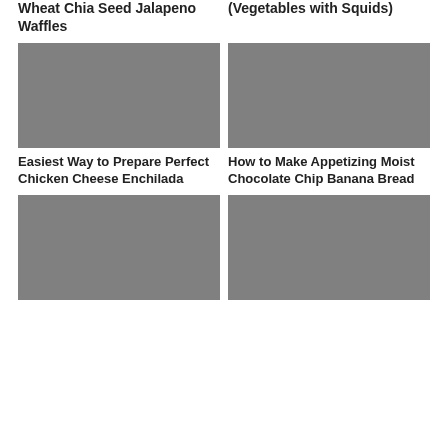Wheat Chia Seed Jalapeno Waffles
(Vegetables with Squids)
[Figure (photo): Gray placeholder image for Chicken Cheese Enchilada recipe]
[Figure (photo): Gray placeholder image for Moist Chocolate Chip Banana Bread recipe]
Easiest Way to Prepare Perfect Chicken Cheese Enchilada
How to Make Appetizing Moist Chocolate Chip Banana Bread
[Figure (photo): Gray placeholder image bottom left]
[Figure (photo): Gray placeholder image bottom right]